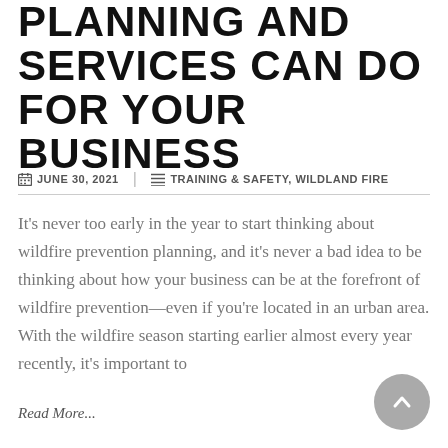PLANNING AND SERVICES CAN DO FOR YOUR BUSINESS
JUNE 30, 2021  |  TRAINING & SAFETY, WILDLAND FIRE
It's never too early in the year to start thinking about wildfire prevention planning, and it's never a bad idea to be thinking about how your business can be at the forefront of wildfire prevention—even if you're located in an urban area. With the wildfire season starting earlier almost every year recently, it's important to
Read More...